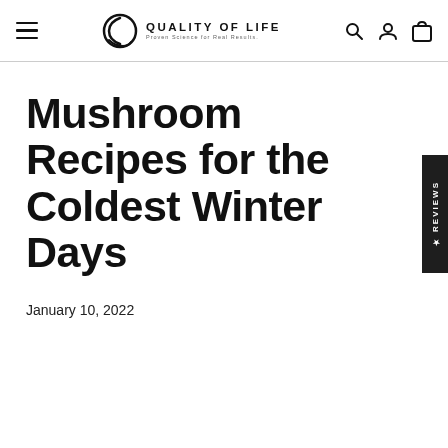Quality of Life — Proven Science for Real Results. Navigation bar with hamburger menu, logo, search, account, and cart icons.
Mushroom Recipes for the Coldest Winter Days
January 10, 2022